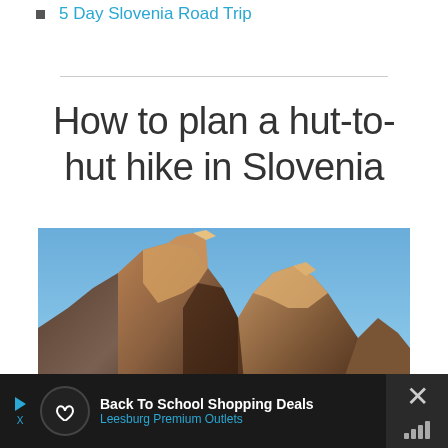5 Day Slovenia Road Trip
How to plan a hut-to-hut hike in Slovenia
[Figure (photo): Mountain peaks illuminated by warm sunlight against a clear blue sky — rocky, rugged Slovenian Alps scenery]
Back To School Shopping Deals
Leesburg Premium Outlets